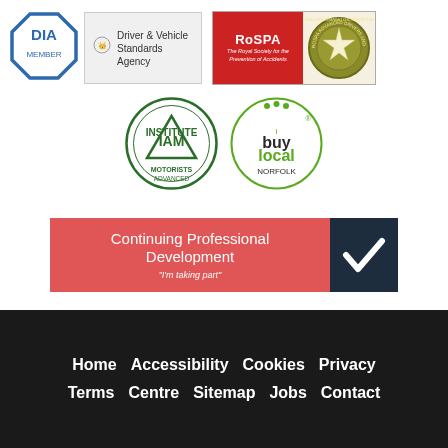[Figure (logo): DIA Member octagon logo in blue]
[Figure (logo): Driver & Vehicle Standards Agency logo with royal crest]
[Figure (logo): RoSPA - The Royal Society for the Prevention of Accidents red logo]
[Figure (logo): RoSPA Advanced Drivers and Riders circular badge]
[Figure (logo): Institute of Advanced Motorists (IAM) circular green logo]
[Figure (logo): Buy Local Norfolk circular green logo]
[Figure (infographic): Continuing Professional Development banner - I'm taking part - red and dark navy with checkmark]
Home  Accessibility  Cookies  Privacy  Terms  Centre  Sitemap  Jobs  Contact